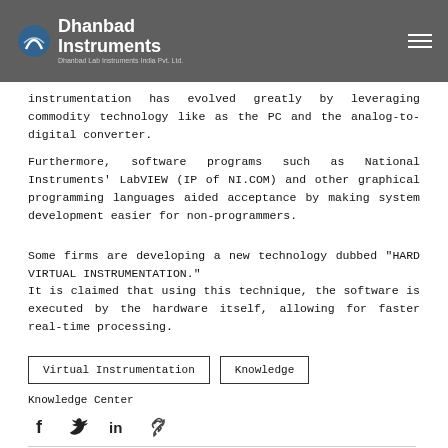Dhanbad Instruments — Dhanbad Lab Instruments India Pvt. Ltd.
instrumentation has evolved greatly by leveraging commodity technology like as the PC and the analog-to-digital converter. Furthermore, software programs such as National Instruments' LabVIEW (IP of NI.COM) and other graphical programming languages aided acceptance by making system development easier for non-programmers.
Some firms are developing a new technology dubbed "HARD VIRTUAL INSTRUMENTATION." It is claimed that using this technique, the software is executed by the hardware itself, allowing for faster real-time processing.
Virtual Instrumentation
Knowledge
Knowledge Center
[Figure (infographic): Social share icons row: Facebook, Twitter, LinkedIn, Link/chain icon]
0
[Figure (infographic): Stats row: eye/view icon with count 0, comment icon, and heart/like icon on the right]